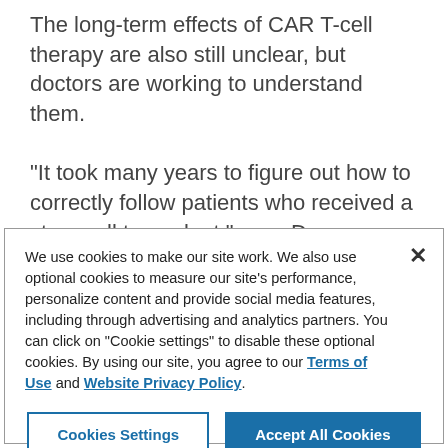The long-term effects of CAR T-cell therapy are also still unclear, but doctors are working to understand them.

“It took many years to figure out how to correctly follow patients who received a stem cell transplant,” says Duncan. “Now we’re trying to figure out how to follow patients who received CAR T-cell therapy. This is something we’ll learn over
We use cookies to make our site work. We also use optional cookies to measure our site’s performance, personalize content and provide social media features, including through advertising and analytics partners. You can click on “Cookie settings” to disable these optional cookies. By using our site, you agree to our Terms of Use and Website Privacy Policy.
Cookies Settings
Accept All Cookies